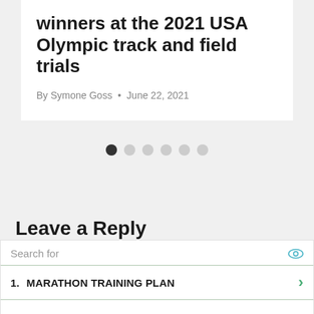winners at the 2021 USA Olympic track and field trials
By Symone Goss • June 22, 2021
[Figure (other): Carousel pagination dots: 6 dots, first one filled/dark, rest empty/light gray]
Leave a Reply
[Figure (infographic): Advertisement search widget with eye icon, two list items: 1. MARATHON TRAINING PLAN, 2. RUNNING TIPS FOR BEGINNERS, each with a green chevron arrow. Bottom row with a teal play/send icon.]